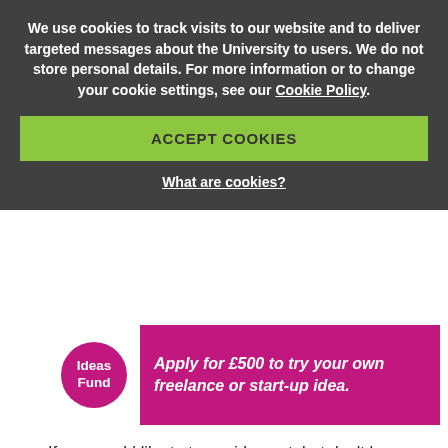We use cookies to track visits to our website and to deliver targeted messages about the University to users. We do not store personal details. For more information or to change your cookie settings, see our Cookie Policy.
ACCEPT COOKIES
What are cookies?
[Figure (infographic): Ideas Fund banner with pink/magenta background. White circle logo on left with 'Ideas Fund' text in pink. White italic bold text: 'Apply for £500 to try your own freelance or start-up idea.']
If you would like to try an idea out, but don't have a registered business yet, then you can apply for £500 through the Ideas Fund. If your initial application is successful you will be invited for a panel interview. Once funds are awarded, money will be paid to you up front and receipts are required upon completion.